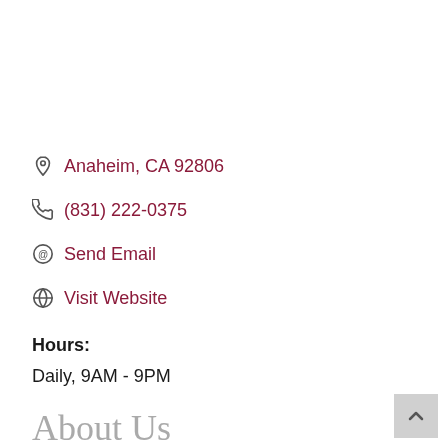Anaheim, CA 92806
(831) 222-0375
Send Email
Visit Website
Hours:
Daily, 9AM - 9PM
About Us